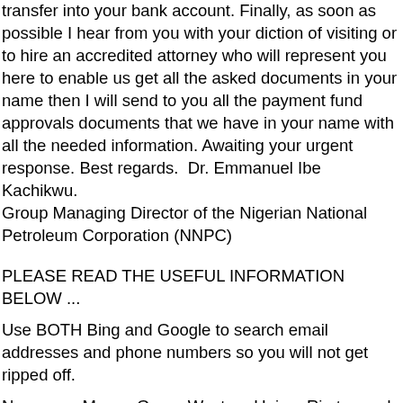transfer into your bank account. Finally, as soon as possible I hear from you with your diction of visiting or to hire an accredited attorney who will represent you here to enable us get all the asked documents in your name then I will send to you all the payment fund approvals documents that we have in your name with all the needed information. Awaiting your urgent response. Best regards.  Dr. Emmanuel Ibe Kachikwu. Group Managing Director of the Nigerian National Petroleum Corporation (NNPC)
PLEASE READ THE USEFUL INFORMATION BELOW ...
Use BOTH Bing and Google to search email addresses and phone numbers so you will not get ripped off.
Never use Money Gram, Western Union, Ria to send a fee to strangers. Never buy an i-tunes card, Amazon card